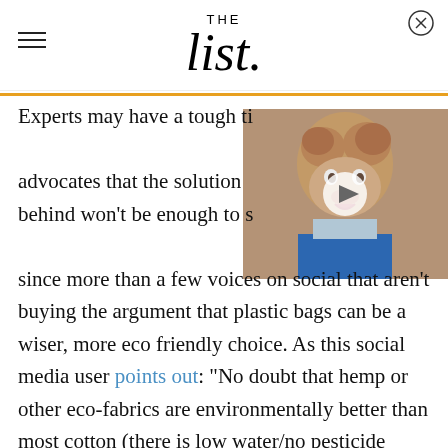THE list
[Figure (photo): Smiling elderly woman with blonde curly hair wearing blue jacket and colorful scarf, with a video play button overlay]
Experts may have a tough time convincing advocates that the solution of leaving bags behind won't be enough to save the planet, since more than a few voices on social that aren't buying the argument that plastic bags can be a wiser, more eco friendly choice. As this social media user points out: "No doubt that hemp or other eco-fabrics are environmentally better than most cotton (there is low water/no pesticide cotton), but that wasn't the point of the [New York Times] article. Any tote, even one made of polyester, is better than using disposable plastic bags for a variety of reasons."